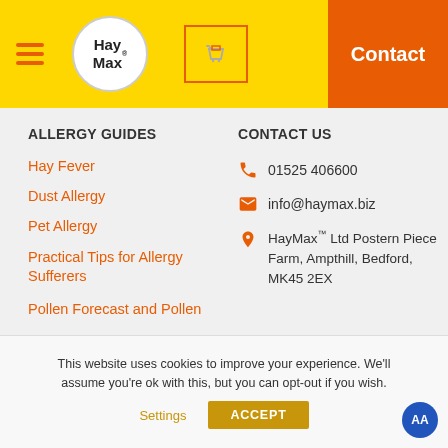[Figure (logo): HayMax website header with yellow background, hamburger menu, HayMax logo circle, shopping cart icon, and orange Contact button]
ALLERGY GUIDES
CONTACT US
Hay Fever
Dust Allergy
Pet Allergy
Practical Tips for Allergy Sufferers
Pollen Forecast and Pollen
01525 406600
info@haymax.biz
HayMax™ Ltd Postern Piece Farm, Ampthill, Bedford, MK45 2EX
This website uses cookies to improve your experience. We'll assume you're ok with this, but you can opt-out if you wish.
Settings
ACCEPT